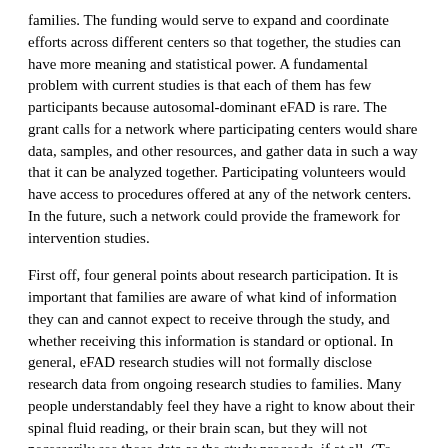families. The funding would serve to expand and coordinate efforts across different centers so that together, the studies can have more meaning and statistical power. A fundamental problem with current studies is that each of them has few participants because autosomal-dominant eFAD is rare. The grant calls for a network where participating centers would share data, samples, and other resources, and gather data in such a way that it can be analyzed together. Participating volunteers would have access to procedures offered at any of the network centers. In the future, such a network could provide the framework for intervention studies.
First off, four general points about research participation. It is important that families are aware of what kind of information they can and cannot expect to receive through the study, and whether receiving this information is standard or optional. In general, eFAD research studies will not formally disclose research data from ongoing research studies to families. Many people understandably feel they have a right to know about their spinal fluid reading, or their brain scan, but they will not necessarily see those data as the study proceeds, if at all. (To learn why not, see sidebar.) On the other hand, research physicians tend to keep their study participants abreast of everything they hear about emerging treatments, and they educate study participants about the best care and prevention measures available.
Genetic information is treated with special care because of its substantial implications for the individual and for other family